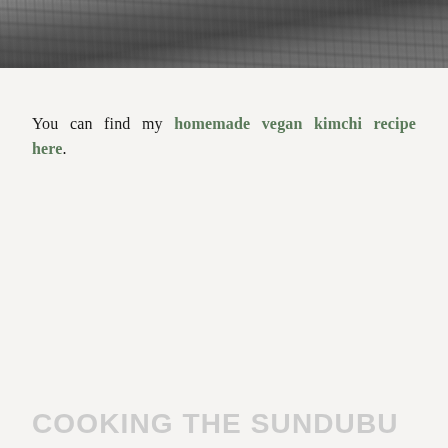[Figure (photo): Top portion of a food photograph showing a dark, grainy textured surface — likely kimchi or a fermented dish — cropped at the bottom of the frame.]
You can find my homemade vegan kimchi recipe here.
COOKING THE SUNDUBU
JIGAE